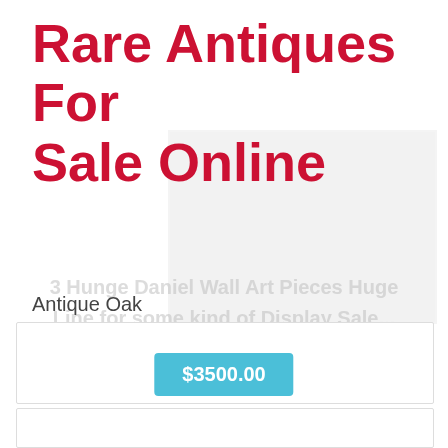Rare Antiques For Sale Online
[Figure (illustration): Faded/watermark image of a framed wall art piece in the background, partially transparent]
3 Hunge Daniel Wall Art Pieces Huge
Line for some kind of Display Sale...
Antique Oak
Antique Mahogany
Antique Carpet
Antique Painting
Antique Glass
Antique Plate
$3500.00